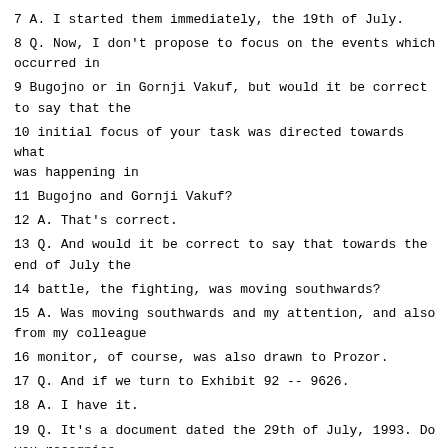7 A. I started them immediately, the 19th of July.
8 Q. Now, I don't propose to focus on the events which occurred in
9 Bugojno or in Gornji Vakuf, but would it be correct to say that the
10 initial focus of your task was directed towards what was happening in
11 Bugojno and Gornji Vakuf?
12 A. That's correct.
13 Q. And would it be correct to say that towards the end of July the
14 battle, the fighting, was moving southwards?
15 A. Was moving southwards and my attention, and also from my colleague
16 monitor, of course, was also drawn to Prozor.
17 Q. And if we turn to Exhibit 92 -- 9626.
18 A. I have it.
19 Q. It's a document dated the 29th of July, 1993. Do you recognise